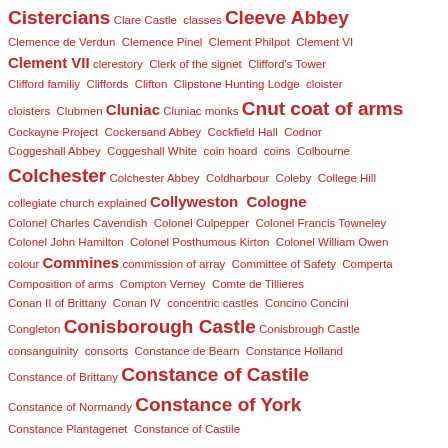Cistercians Clare Castle classes Cleeve Abbey
Clemence de Verdun Clemence Pinel Clement Philpot Clement VI
Clement VII clerestory Clerk of the signet Clifford's Tower
Clifford familiy Cliffords Clifton Clipstone Hunting Lodge cloister
cloisters Clubmen Cluniac Cluniac monks Cnut coat of arms
Cockayne Project Cockersand Abbey Cockfield Hall Codnor
Coggeshall Abbey Coggeshall White coin hoard coins Colbourne
Colchester Colchester Abbey Coldharbour Coleby College Hill
collegiate church explained Collyweston Cologne
Colonel Charles Cavendish Colonel Culpepper Colonel Francis Towneley
Colonel John Hamilton Colonel Posthumous Kirton Colonel William Owen
colour Commines commission of array Committee of Safety Comperta
Composition of arms Compton Verney Comte de Tillieres
Conan II of Brittany Conan IV concentric castles Concino Concini
Congleton Conisborough Castle Conisbrough Castle
consanguinity consorts Constance de Bearn Constance Holland
Constance of Brittany Constance of Castile
Constance of Normandy Constance of York
Constance Plantagenet Constance of Castile